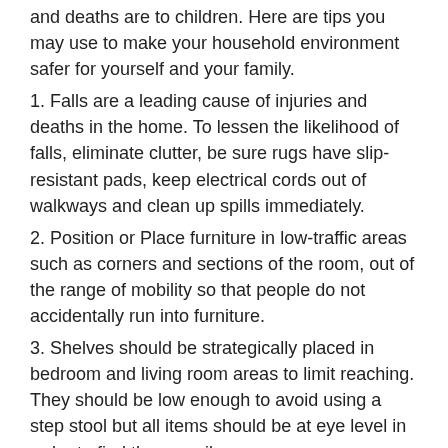and deaths are to children. Here are tips you may use to make your household environment safer for yourself and your family.
1. Falls are a leading cause of injuries and deaths in the home. To lessen the likelihood of falls, eliminate clutter, be sure rugs have slip-resistant pads, keep electrical cords out of walkways and clean up spills immediately.
2. Position or Place furniture in low-traffic areas such as corners and sections of the room, out of the range of mobility so that people do not accidentally run into furniture.
3. Shelves should be strategically placed in bedroom and living room areas to limit reaching. They should be low enough to avoid using a step stool but all items should be at eye level in order to find them easily.
4. Make sure furniture is stable and without sharp corners, if possible. This will minimize the chances of injury.
5. Make sure that furniture surfaces are smooth and free of splinters or rough edges. Nails, screws and other joiners should be tight and unexposed.
6. Be careful not to overload the shelves on bookcases